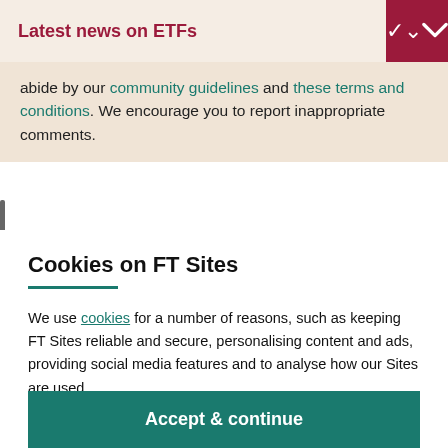Latest news on ETFs
abide by our community guidelines and these terms and conditions. We encourage you to report inappropriate comments.
Cookies on FT Sites
We use cookies for a number of reasons, such as keeping FT Sites reliable and secure, personalising content and ads, providing social media features and to analyse how our Sites are used.
Manage cookies
Accept & continue